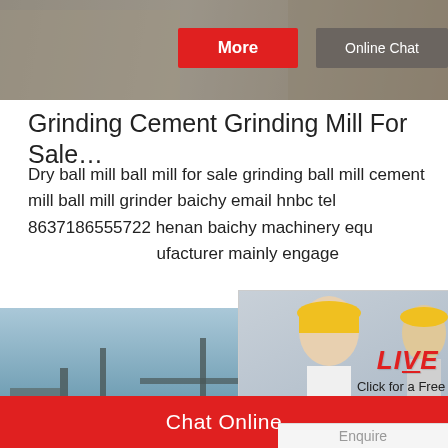[Figure (screenshot): Top banner image showing construction/mining scene with two buttons: More (red) and Online Chat (gray)]
Grinding Cement Grinding Mill For Sale…
Dry ball mill ball mill for sale grinding ball mill cement mill ball mill grinder baichy email hnbc tel 8637186555722 henan baichy machinery equipment manufacturer mainly engage
[Figure (screenshot): Live Chat popup overlay with workers in hard hats, LIVE CHAT title in red italic, 'Click for a Free Consultation' subtitle, close button, Chat now (red) and Chat later (gray) buttons]
[Figure (screenshot): Bottom section showing construction site image, 24hrs Online red badge, customer service representative photo, Need questions & suggestion? text, Chat Now red button]
Chat Online
Enquire